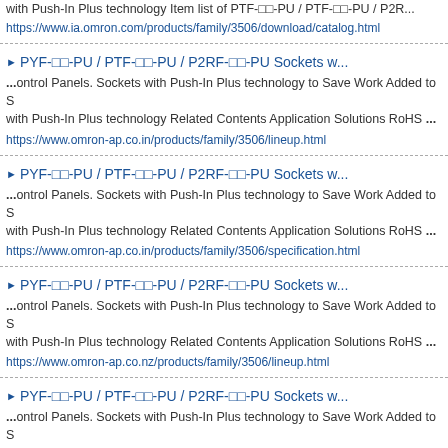with Push-In Plus technology Item list of PTF-□□-PU / PTF-□□-PU / P2R...
https://www.ia.omron.com/products/family/3506/download/catalog.html
▶ PYF-□□-PU / PTF-□□-PU / P2RF-□□-PU Sockets w...
...ontrol Panels. Sockets with Push-In Plus technology to Save Work Added to S with Push-In Plus technology Related Contents Application Solutions RoHS ...
https://www.omron-ap.co.in/products/family/3506/lineup.html
▶ PYF-□□-PU / PTF-□□-PU / P2RF-□□-PU Sockets w...
...ontrol Panels. Sockets with Push-In Plus technology to Save Work Added to S with Push-In Plus technology Related Contents Application Solutions RoHS ...
https://www.omron-ap.co.in/products/family/3506/specification.html
▶ PYF-□□-PU / PTF-□□-PU / P2RF-□□-PU Sockets w...
...ontrol Panels. Sockets with Push-In Plus technology to Save Work Added to S with Push-In Plus technology Related Contents Application Solutions RoHS ...
https://www.omron-ap.co.nz/products/family/3506/lineup.html
▶ PYF-□□-PU / PTF-□□-PU / P2RF-□□-PU Sockets w...
...ontrol Panels. Sockets with Push-In Plus technology to Save Work Added to S with Push-In Plus technology Related Contents Application Solutions RoHS ...
https://www.omron-ap.co.nz/products/family/3506/specification.html
▶ PYF-□□-PU / PTF-□□-PU / P2RF-□□-PU Sockets w...